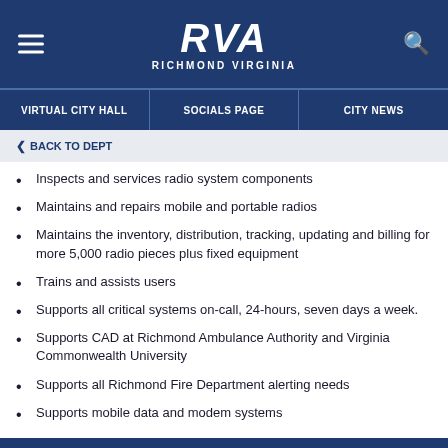[Figure (logo): RVA Richmond Virginia government logo on dark blue header background with hamburger menu icon on left and search icon on right]
VIRTUAL CITY HALL | SOCIALS PAGE | CITY NEWS
< BACK TO DEPT
Inspects and services radio system components
Maintains and repairs mobile and portable radios
Maintains the inventory, distribution, tracking, updating and billing for more 5,000 radio pieces plus fixed equipment
Trains and assists users
Supports all critical systems on-call, 24-hours, seven days a week.
Supports CAD at Richmond Ambulance Authority and Virginia Commonwealth University
Supports all Richmond Fire Department alerting needs
Supports mobile data and modem systems